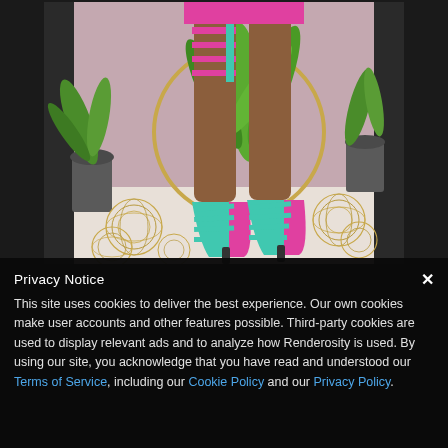[Figure (photo): 3D rendered fashion image showing legs of a figure wearing pink strappy high-heel sandals with teal/turquoise accents, set in a stylized scene with green palm leaves, a gold hoop, gold wire ball decorations, and plants on a light floor against a mauve/pink wall.]
Privacy Notice
This site uses cookies to deliver the best experience. Our own cookies make user accounts and other features possible. Third-party cookies are used to display relevant ads and to analyze how Renderosity is used. By using our site, you acknowledge that you have read and understood our Terms of Service, including our Cookie Policy and our Privacy Policy.